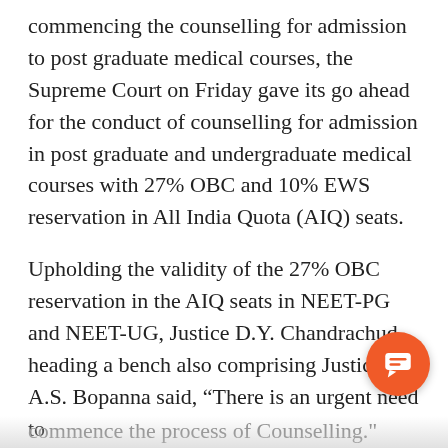commencing the counselling for admission to post graduate medical courses, the Supreme Court on Friday gave its go ahead for the conduct of counselling for admission in post graduate and undergraduate medical courses with 27% OBC and 10% EWS reservation in All India Quota (AIQ) seats.
Upholding the validity of the 27% OBC reservation in the AIQ seats in NEET-PG and NEET-UG, Justice D.Y. Chandrachud heading a bench also comprising Justice A.S. Bopanna said, “There is an urgent need to
commence the process of Counselling.